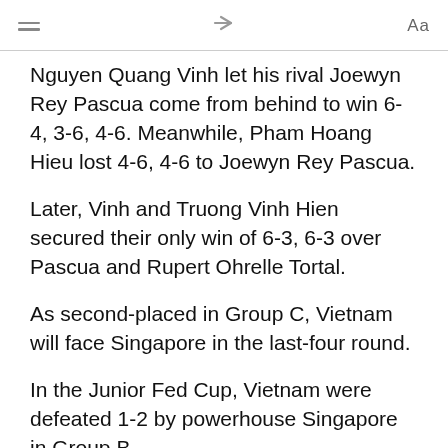≡  ↗  Aa
Nguyen Quang Vinh let his rival Joewyn Rey Pascua come from behind to win 6-4, 3-6, 4-6. Meanwhile, Pham Hoang Hieu lost 4-6, 4-6 to Joewyn Rey Pascua.
Later, Vinh and Truong Vinh Hien secured their only win of 6-3, 6-3 over Pascua and Rupert Ohrelle Tortal.
As second-placed in Group C, Vietnam will face Singapore in the last-four round.
In the Junior Fed Cup, Vietnam were defeated 1-2 by powerhouse Singapore in Group B.
Sophia Huynh Tran Ngoc Nhi pushed her team